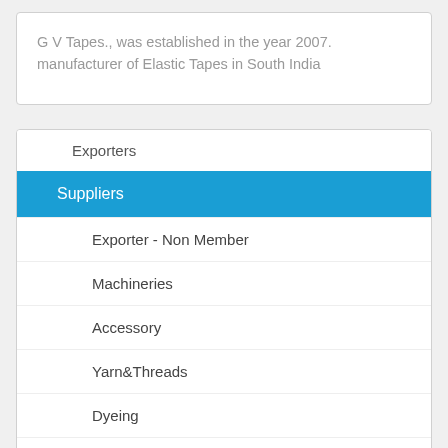G V Tapes., was established in the year 2007. manufacturer of Elastic Tapes in South India
Exporters
Suppliers
Exporter - Non Member
Machineries
Accessory
Yarn&Threads
Dyeing
Knitting
Compacting
Printing